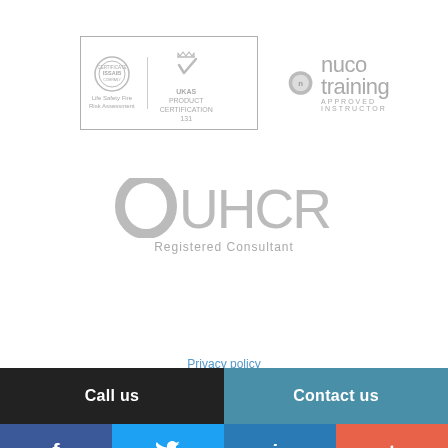[Figure (logo): ISSAI Certificate and UKAS Product Certification logo box with Life Safety Fire Risk Assessment text]
[Figure (logo): Nuco Training logo with circle icon and text]
[Figure (logo): OUHCR Registered Consultant logo]
Privacy policy
Call us
Contact us
[Figure (logo): Social media icons bar: Facebook, Twitter, LinkedIn, Google Plus]